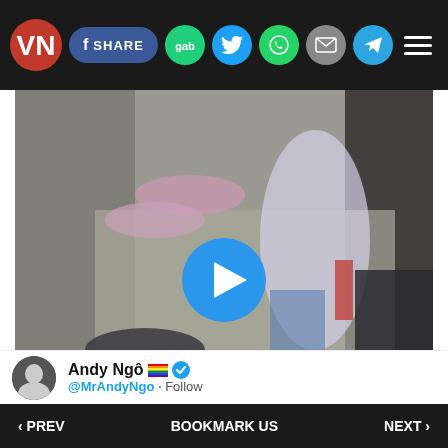VN logo, SHARE, gab, twitter, whatsapp, email, telegram, menu
[Figure (photo): Blurry video thumbnail showing people's feet and legs on pavement with a blue play button overlay in the center]
Andy Ngô 🏳️‍🌈 ✅
@MrAndyNgo · Follow
‹ PREV    BOOKMARK US    NEXT ›